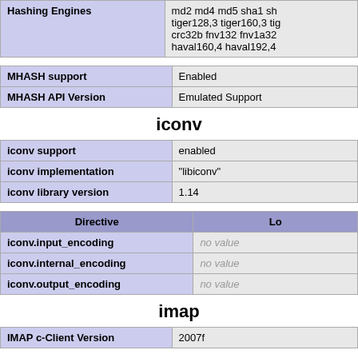| Hashing Engines | md2 md4 md5 sha1 sh tiger128,3 tiger160,3 tig crc32b fnv132 fnv1a32 haval160,4 haval192,4 |
| MHASH support | Enabled |
| MHASH API Version | Emulated Support |
iconv
| iconv support | enabled |
| iconv implementation | "libiconv" |
| iconv library version | 1.14 |
| Directive | Lo |
| --- | --- |
| iconv.input_encoding | no value |
| iconv.internal_encoding | no value |
| iconv.output_encoding | no value |
imap
| IMAP c-Client Version | 2007f |